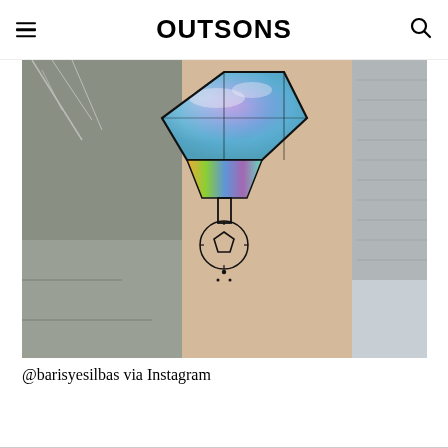OUTSONS
[Figure (photo): A colorful geometric tattoo on a person's arm. The tattoo depicts a diamond/gem shape at the top filled with blue, purple, and teal watercolor-style ink resembling a galaxy or ocean scene. Below the gem are yellow and rainbow-colored geometric lines leading to a circular ornamental shape with a small pentagon, resembling a key or compass. The background shows an urban sidewalk on the left and the person's arm/clothing on the right.]
@barisyesilbas via Instagram